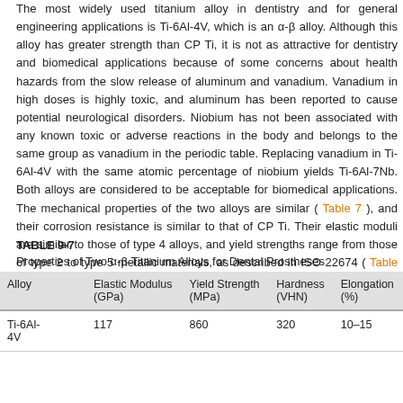The most widely used titanium alloy in dentistry and for general engineering applications is Ti-6Al-4V, which is an α-β alloy. Although this alloy has greater strength than CP Ti, it is not as attractive for dentistry and biomedical applications because of some concerns about health hazards from the slow release of aluminum and vanadium. Vanadium in high doses is highly toxic, and aluminum has been reported to cause potential neurological disorders. Niobium has not been associated with any known toxic or adverse reactions in the body and belongs to the same group as vanadium in the periodic table. Replacing vanadium in Ti-6Al-4V with the same atomic percentage of niobium yields Ti-6Al-7Nb. Both alloys are considered to be acceptable for biomedical applications. The mechanical properties of the two alloys are similar ( Table 7 ), and their corrosion resistance is similar to that of CP Ti. Their elastic moduli are similar to those of type 4 alloys, and yield strengths range from those of type 2 to type 5 metallic materials, as described in ISO 22674 ( Table 9-2 ).
TABLE 9-7
Properties of Two α-β Titanium Alloys for Dental Prostheses
| Alloy | Elastic Modulus (GPa) | Yield Strength (MPa) | Hardness (VHN) | Elongation (%) |
| --- | --- | --- | --- | --- |
| Ti-6Al-4V | 117 | 860 | 320 | 10–15 |